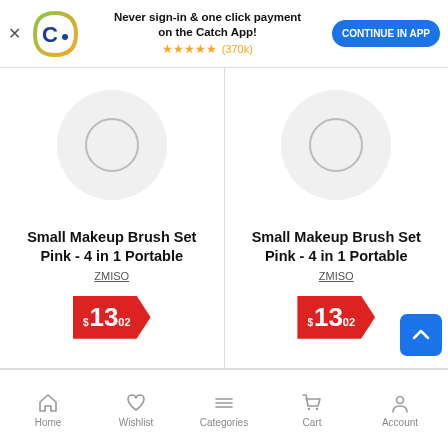[Figure (screenshot): App banner with Catch logo, text 'Never sign-in & one click payment on the Catch App!', star rating (370k reviews), and 'CONTINUE IN APP' button]
Small Makeup Brush Set Pink - 4 in 1 Portable
ZMISO
$13.02
Small Makeup Brush Set Pink - 4 in 1 Portable
ZMISO
$13.02
Home  Wishlist  Categories  Cart  Account